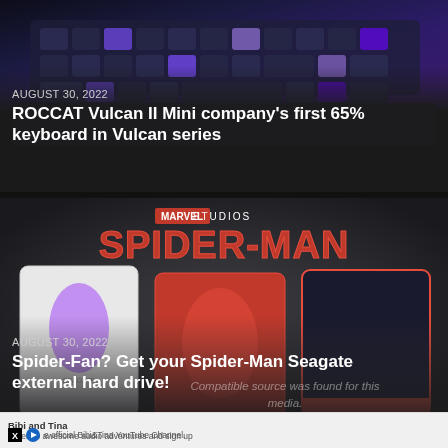[Figure (screenshot): Photo of a mechanical keyboard with RGB lighting (blues and purples), close-up view of keycaps]
AUGUST 30, 2022
ROCCAT Vulcan II Mini company's first 65% keyboard in Vulcan series
[Figure (photo): Product photo showing three Seagate external hard drives with Marvel Studios Spider-Man branding: Ghost Spider (white), Spider-Man (red), Miles Morales (black). Marvel Studios Spider-Man logo at top.]
AUGUST 30, 2022
Spider-Fan? Get your Spider-Man Seagate external hard drive!
Compatible source was found for this media.
Bibi and Tina
Listen to awesome audio adventures and sign up
e official Bibi&Tina YouTube Channel.